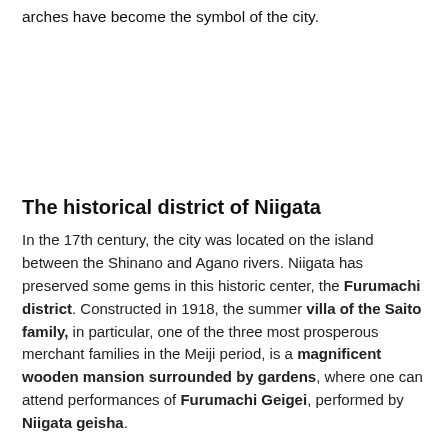arches have become the symbol of the city.
The historical district of Niigata
In the 17th century, the city was located on the island between the Shinano and Agano rivers. Niigata has preserved some gems in this historic center, the Furumachi district. Constructed in 1918, the summer villa of the Saito family, in particular, one of the three most prosperous merchant families in the Meiji period, is a magnificent wooden mansion surrounded by gardens, where one can attend performances of Furumachi Geigei, performed by Niigata geisha.
Hakusan Shrine, founded 400 years ago, is located in the heart of a large park, Hakusan Park. Opened in 1873, it is one of the first public green spaces in the archipelago. The place is